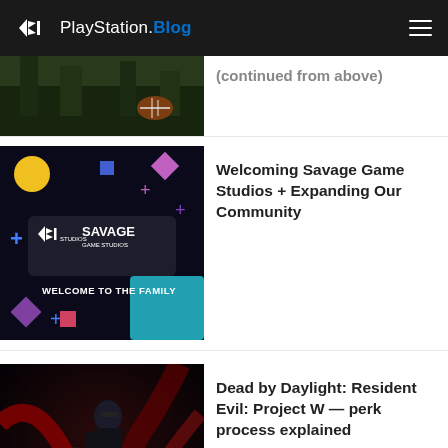PlayStation.Blog
[Figure (screenshot): Partial game screenshot showing forest/outdoor scene with football]
[partial article title cut off at top]
[Figure (screenshot): Savage Game Studios Welcome to the Family promotional image with PlayStation Studios branding on dark background with colorful shapes]
Welcoming Savage Game Studios + Expanding Our Community
[Figure (screenshot): Dead by Daylight: Resident Evil Project W game promotional art showing characters]
Dead by Daylight: Resident Evil: Project W — perk process explained
[Figure (screenshot): The Last of Us Part I game screenshot]
The Last of Us Part I: full list of accessibility features